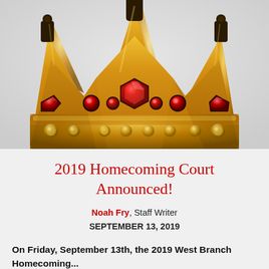[Figure (illustration): A gold crown with red gemstone decorations on a light gray background, shown from the front. The crown features three peaks with dark ornamental toppers, a large central red hexagonal gem, smaller round red gems along the band, and gold spherical studs along the bottom rim.]
2019 Homecoming Court Announced!
Noah Fry, Staff Writer
SEPTEMBER 13, 2019
On Friday, September 13th, the 2019 West Branch Homecoming...